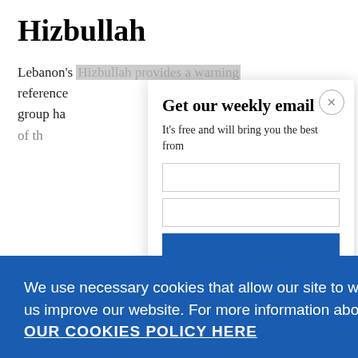Hizbullah
Lebanon's Hizbullah provides a warning reference group ha of th
Get our weekly email
It's free and will bring you the best from
We use necessary cookies that allow our site to work. We also set optional cookies that help us improve our website. For more information about the types of cookies we use. READ OUR COOKIES POLICY HERE
COOKIE SETTINGS
ALLOW ALL COOKIES
data.
to Hizbul